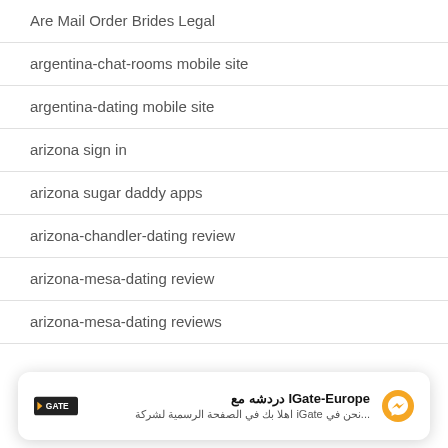Are Mail Order Brides Legal
argentina-chat-rooms mobile site
argentina-dating mobile site
arizona sign in
arizona sugar daddy apps
arizona-chandler-dating review
arizona-mesa-dating review
arizona-mesa-dating reviews
[Figure (other): Chat popup widget for IGate-Europe with Arabic text and messenger icon]